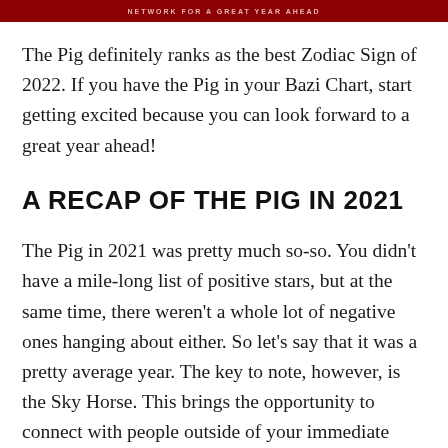NETWORK FOR A GREAT YEAR AHEAD
The Pig definitely ranks as the best Zodiac Sign of 2022. If you have the Pig in your Bazi Chart, start getting excited because you can look forward to a great year ahead!
A RECAP OF THE PIG IN 2021
The Pig in 2021 was pretty much so-so. You didn't have a mile-long list of positive stars, but at the same time, there weren't a whole lot of negative ones hanging about either. So let's say that it was a pretty average year. The key to note, however, is the Sky Horse. This brings the opportunity to connect with people outside of your immediate